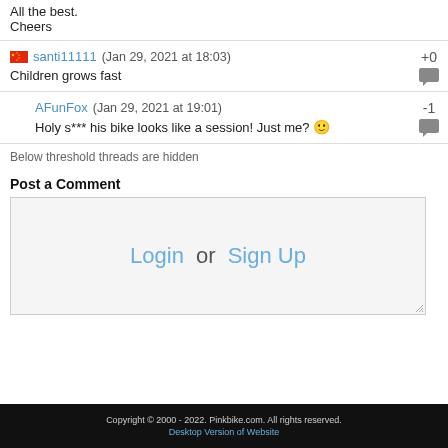All the best.
Cheers
santi11111 (Jan 29, 2021 at 18:03) +0
Children grows fast
AFunFox (Jan 29, 2021 at 19:01) -1
Holy s*** his bike looks like a session! Just me? 🙂
Below threshold threads are hidden
Post a Comment
Login or Sign Up
Copyright © 2000 - 2022. Pinkbike.com. All rights reserved.
Desktop Version of Website